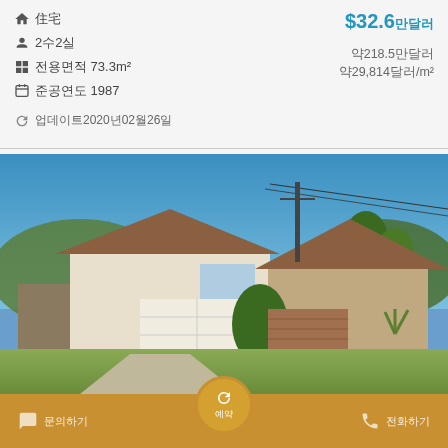🏠 住宅
👤 2수2실
전용면적 73.3m²
준공연도 1987
업데이트2020년02월26일
$32.6万달러
약218.5만달러
약29,814달러/m²
[Figure (photo): Exterior photo of a suburban American house with brick facade, white garage door, two-story design, blue sky background, green lawn]
문의하기 | 예약 | 전화하기